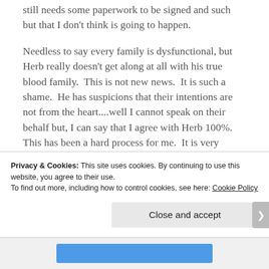still needs some paperwork to be signed and such but that I don't think is going to happen.
Needless to say every family is dysfunctional, but Herb really doesn't get along at all with his true blood family.  This is not new news.  It is such a shame.  He has suspicions that their intentions are not from the heart....well I cannot speak on their behalf but, I can say that I agree with Herb 100%.  This has been a hard process for me.  It is very humbling seeing him go thru this...it also really sucks.  I have done a lot of praying and discerning.  I
Privacy & Cookies: This site uses cookies. By continuing to use this website, you agree to their use.
To find out more, including how to control cookies, see here: Cookie Policy
Close and accept